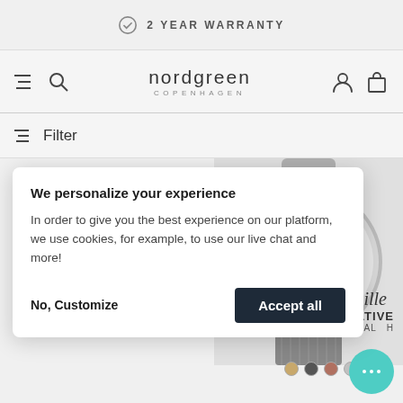2 YEAR WARRANTY
nordgreen COPENHAGEN
Filter
We personalize your experience
In order to give you the best experience on our platform, we use cookies, for example, to use our live chat and more!
No, Customize
Accept all
Lille
ATIVE
ARL DIAL H
END-OF-SUMMER OFFER : GET A FREE EXTRA STRAP [CODE: FREESTRAP]
0D 10H 23M 12S